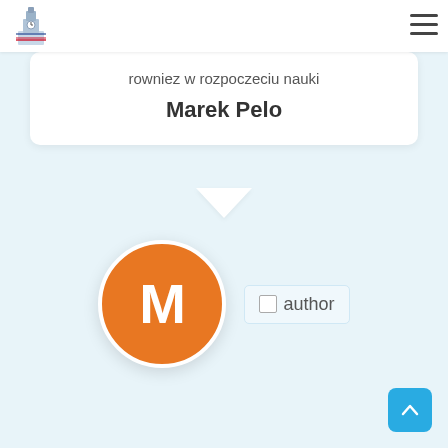[Figure (logo): Big Ben with UK flag logo in top left corner]
[Figure (other): Hamburger menu icon (three horizontal lines) in top right corner]
rowniez w rozpoczeciu nauki
Marek Pelo
[Figure (illustration): Orange circle avatar with white letter M representing author Marek Pelo]
author
[Figure (other): Blue rounded square scroll-to-top button with upward chevron arrow]